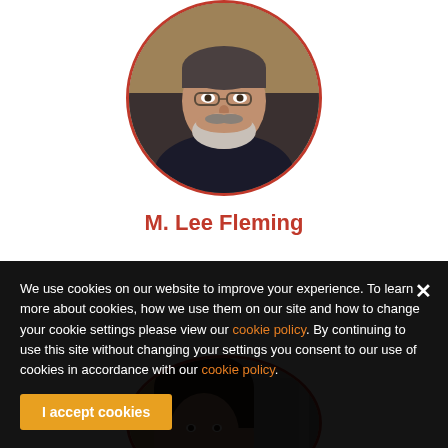[Figure (photo): Circular profile photo of M. Lee Fleming, a middle-aged man with a beard, wearing a dark shirt, in a home setting]
M. Lee Fleming
[Figure (photo): Circular profile photo of a second person, partially visible, with dark hair, in a home setting with a microwave visible in background]
We use cookies on our website to improve your experience. To learn more about cookies, how we use them on our site and how to change your cookie settings please view our cookie policy. By continuing to use this site without changing your settings you consent to our use of cookies in accordance with our cookie policy.